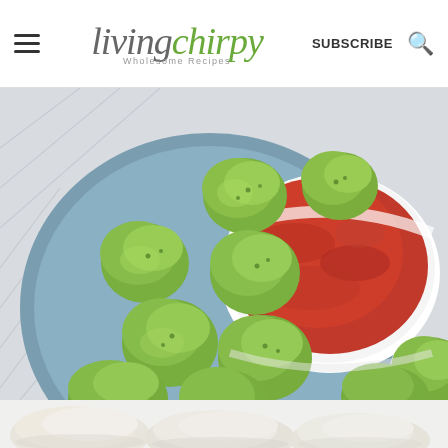living chirpy — Wholesome Recipes — SUBSCRIBE
[Figure (photo): Top-down view of green broccoli tots/balls arranged on a blue plate with a white bowl of red marinara dipping sauce, on a patterned background]
[Figure (photo): Partial bottom view of white/pale food items, likely additional broccoli tots on a white surface]